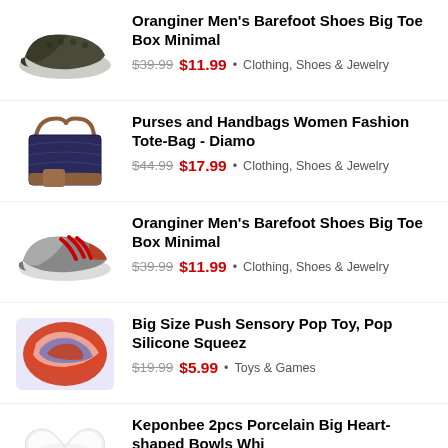Oranginer Men's Barefoot Shoes Big Toe Box Minimal — $39.99 $11.99 • Clothing, Shoes & Jewelry
Purses and Handbags Women Fashion Tote-Bag - Diamo — $44.99 $17.99 • Clothing, Shoes & Jewelry
Oranginer Men's Barefoot Shoes Big Toe Box Minimal — $39.99 $11.99 • Clothing, Shoes & Jewelry
Big Size Push Sensory Pop Toy, Pop Silicone Squeez — $19.99 $5.99 • Toys & Games
Keponbee 2pcs Porcelain Big Heart-shaped Bowls Whi